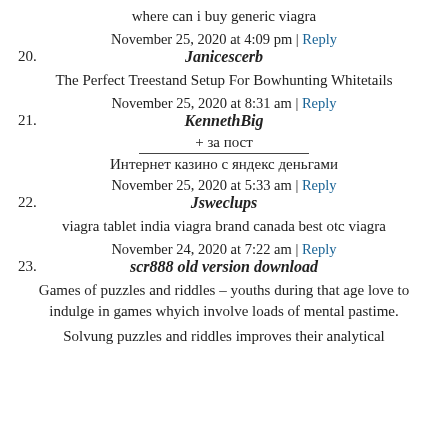where can i buy generic viagra
November 25, 2020 at 4:09 pm | Reply
20. Janicescerb
The Perfect Treestand Setup For Bowhunting Whitetails
November 25, 2020 at 8:31 am | Reply
21. KennethBig
+ за пост
Интернет казино с яндекс деньгами
November 25, 2020 at 5:33 am | Reply
22. Jsweclups
viagra tablet india viagra brand canada best otc viagra
November 24, 2020 at 7:22 am | Reply
23. scr888 old version download
Games of puzzles and riddles – youths during that age love to indulge in games whyich involve loads of mental pastime.
Solvung puzzles and riddles improves their analytical